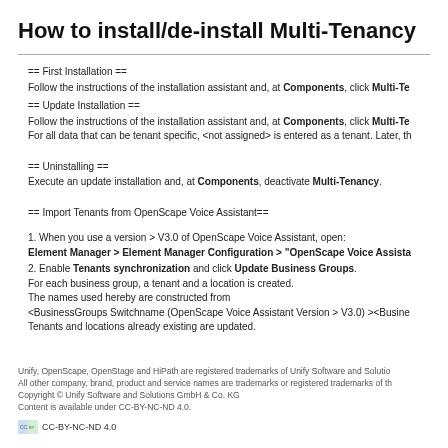How to install/de-install Multi-Tenancy
== First Installation ==
Follow the instructions of the installation assistant and, at Components, click Multi-Te
== Update Installation ==
Follow the instructions of the installation assistant and, at Components, click Multi-Te
For all data that can be tenant specific, <not assigned> is entered as a tenant. Later, th
== Uninstalling ==
Execute an update installation and, at Components, deactivate Multi-Tenancy.
== Import Tenants from OpenScape Voice Assistant==
1. When you use a version > V3.0 of OpenScape Voice Assistant, open:
Element Manager > Element Manager Configuration > "OpenScape Voice Assista
2. Enable Tenants synchronization and click Update Business Groups.
For each business group, a tenant and a location is created.
The names used hereby are constructed from
<BusinessGroups Switchname (OpenScape Voice Assistant Version > V3.0) ><Busine
Tenants and locations already existing are updated.
Unify, OpenScape, OpenStage and HiPath are registered trademarks of Unify Software and Solutio
All other company, brand, product and service names are trademarks or registered trademarks of th
Copyright © Unify Software and Solutions GmbH & Co. KG
Content is available under CC-BY-NC-ND 4.0.
[Figure (logo): CC-BY-NC-ND 4.0 license logo with text]